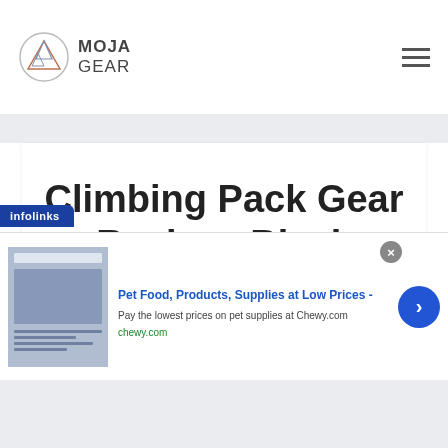[Figure (logo): Moja Gear logo with mountain triangle icon and text MOJA GEAR]
Climbing Pack Gear Review: Black Diamond Creek 50
[Figure (screenshot): Infolinks advertisement overlay: Pet Food, Products, Supplies at Low Prices - chewy.com]